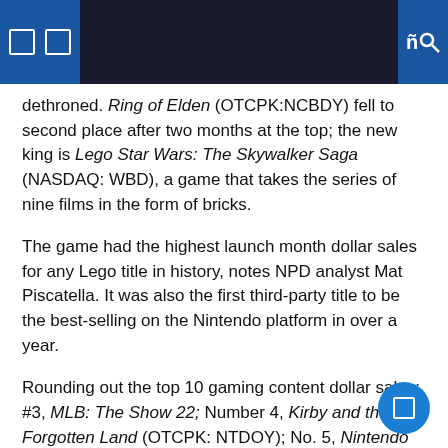dethroned. Ring of Elden (OTCPK:NCBDY) fell to second place after two months at the top; the new king is Lego Star Wars: The Skywalker Saga (NASDAQ: WBD), a game that takes the series of nine films in the form of bricks.
The game had the highest launch month dollar sales for any Lego title in history, notes NPD analyst Mat Piscatella. It was also the first third-party title to be the best-selling on the Nintendo platform in over a year.
Rounding out the top 10 gaming content dollar sales: #3, MLB: The Show 22; Number 4, Kirby and the Forgotten Land (OTCPK: NTDOY); No. 5, Nintendo Switch Sports (OTCPK: NTDOY); Number 6, Call of Duty: Vanguard (ATVI); No. 7, Horizon: West forbidden (SONY); No. 8, Mario Kart 8 (OTCPK: NTDOY); No. 9, Gran Turismo 7 (SONY); and No. 10, Pokemon Legends: Arceus (OTCPK: NTDOY).